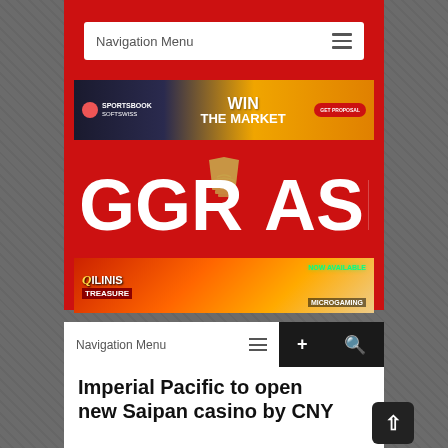[Figure (screenshot): GGR Asia mobile website screenshot showing navigation menu, sportsbook advertisement banner, GGR Asia logo on red background, Qilins Treasure advertisement banner, bottom navigation bar, and article headline]
Navigation Menu
[Figure (illustration): Sportsbook advertisement banner: WIN THE MARKET with GET PROPOSAL button]
GGRASIA
[Figure (illustration): Qilins Treasure advertisement banner: NOW AVAILABLE - Microgaming]
Navigation Menu
Imperial Pacific to open new Saipan casino by CNY